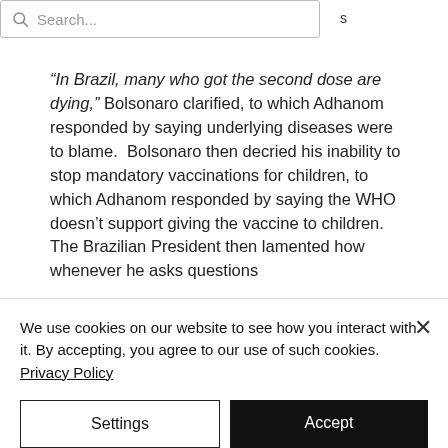Search...
“In Brazil, many who got the second dose are dying,” Bolsonaro clarified, to which Adhanom responded by saying underlying diseases were to blame.  Bolsonaro then decried his inability to stop mandatory vaccinations for children, to which Adhanom responded by saying the WHO doesn’t support giving the vaccine to children.  The Brazilian President then lamented how whenever he asks questions
We use cookies on our website to see how you interact with it. By accepting, you agree to our use of such cookies. Privacy Policy
Settings
Accept